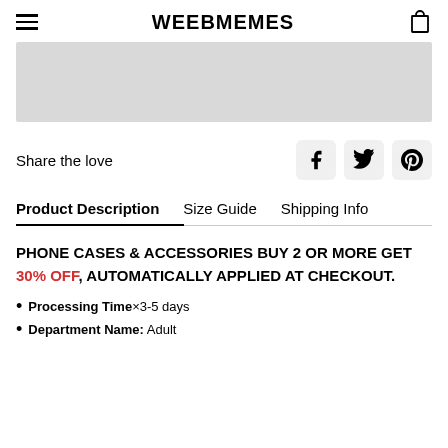WEEBMEMES
[Figure (photo): Product image placeholder (gray rectangle)]
Share the love
Product Description   Size Guide   Shipping Info
PHONE CASES & ACCESSORIES BUY 2 OR MORE GET 30% OFF, AUTOMATICALLY APPLIED AT CHECKOUT.
Processing Time: 3-5 days
Department Name: Adult